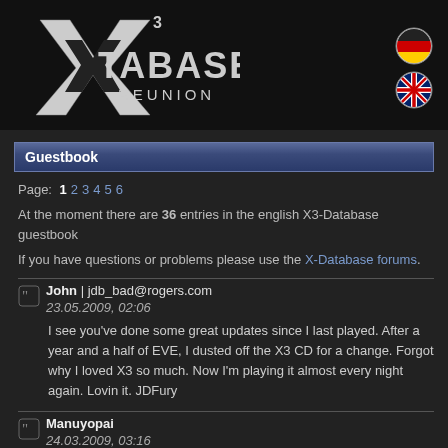[Figure (logo): X3 Database Reunion logo with stylized X3 and text DATABASE REUNION]
[Figure (illustration): German flag circle icon and UK/English flag circle icon for language selection]
Guestbook
Page: 1 2 3 4 5 6
At the moment there are 36 entries in the english X3-Database guestbook
If you have questions or problems please use the X-Database forums.
John | jdb_bad@rogers.com
23.05.2009, 02:06
I see you've done some great updates since I last played. After a year and a half of EVE, I dusted off the X3 CD for a change. Forgot why I loved X3 so much. Now I'm playing it almost every night again. Lovin it. JDFury
Manuyopai
24.03.2009, 03:16